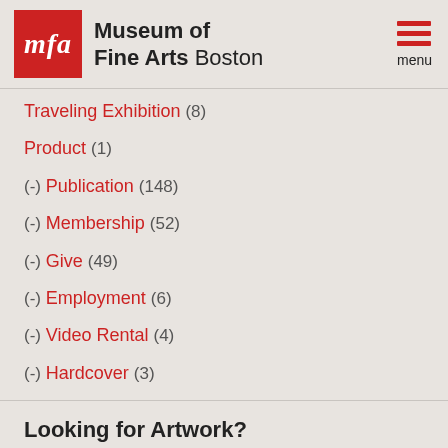Museum of Fine Arts Boston
Traveling Exhibition (8)
Product (1)
(-) Publication (148)
(-) Membership (52)
(-) Give (49)
(-) Employment (6)
(-) Video Rental (4)
(-) Hardcover (3)
Looking for Artwork?
Please use our Collections Search to complete or